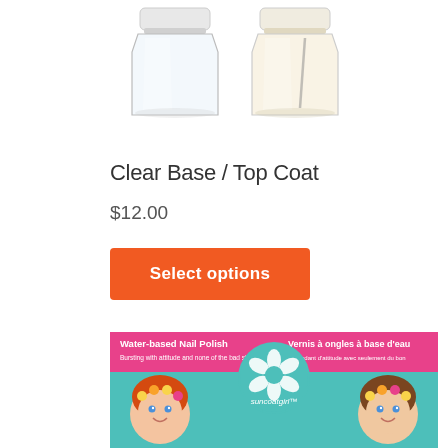[Figure (photo): Two clear nail polish bottles with 'a base d'eau' text on caps, partially visible at top of page]
Clear Base / Top Coat
$12.00
Select options
[Figure (photo): Suncoat Girl product packaging showing water-based nail polish box with cartoon girl characters and bilingual text: 'Water-based Nail Polish / Bursting with attitude and none of the bad stuff' and 'Vernis à ongles à base d'eau / Débordant d'attitude avec seulement du bon']